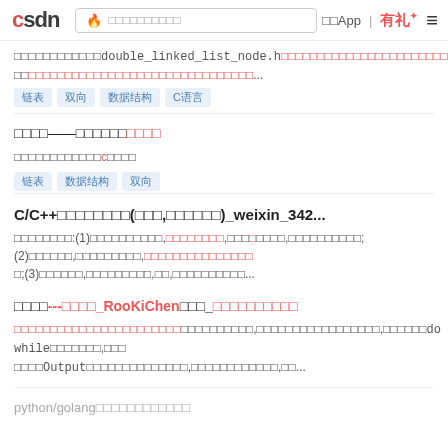CSDN | 下载App | 有礼
包含double_linked_list_node.h头文件，并在文件中定义了一些函数...
Tags: 链表 双向 数据结构 C语言
数据结构——双向循环链表的应用
用c语言实现双向链表的应用...
Tags: 链表 数据结构 双向
C/C++数据结构经典题目(链表,栈和队列)_weixin_342...
本文内容有:(1)单链表的基本操作,逆序输出单链表,将单链表逆序输出,输出节点总数;(2)双向链表的基本操作,链表操作的实现如下;(3)栈的基本操作,队列的实现,以及,递归和非递归的实现...
链表题目---链表算法_RooKiChen的博客_链表算法题目
链表中倒数第k个节点的解法,要找链表倒数第k个节点,就需要do while循环遍历,可以先输出Output链表中的每一个元素,找出其一共有几个...
python/golang链表数据结构面试题